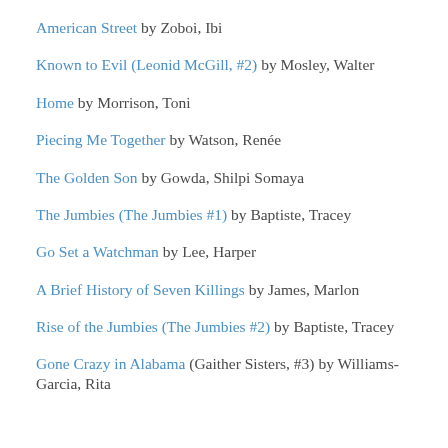American Street by Zoboi, Ibi
Known to Evil (Leonid McGill, #2) by Mosley, Walter
Home by Morrison, Toni
Piecing Me Together by Watson, Renée
The Golden Son by Gowda, Shilpi Somaya
The Jumbies (The Jumbies #1) by Baptiste, Tracey
Go Set a Watchman by Lee, Harper
A Brief History of Seven Killings by James, Marlon
Rise of the Jumbies (The Jumbies #2) by Baptiste, Tracey
Gone Crazy in Alabama (Gaither Sisters, #3) by Williams-Garcia, Rita